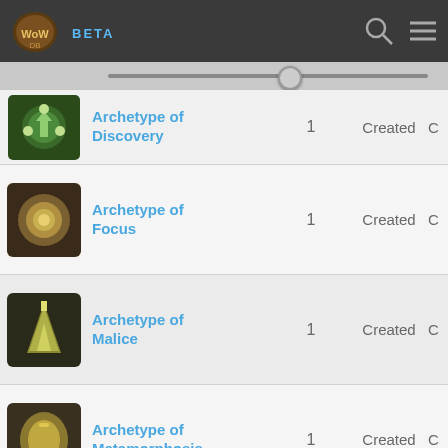WOWDB BETA
| Item | Qty |  | Status |  |
| --- | --- | --- | --- | --- |
| Archetype of Discovery | 1 |  | Created | C… |
| Archetype of Focus | 1 |  | Created | C… |
| Archetype of Malice | 1 |  | Created | C… |
| Archetype of Metamorphosis | 1 |  | Created | C… |
| Archetype of Motion | 1 |  | Created | C… |
| Archetype of Multiplicity | 1 |  | Created | C… |
| Archetype of Predation | 1 |  | Created | C… |
| Archetype of Renewal | 1 |  | Created | C… |